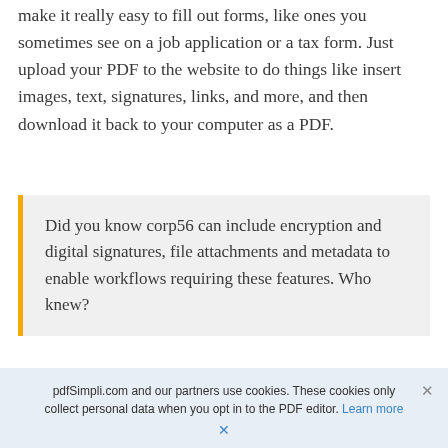make it really easy to fill out forms, like ones you sometimes see on a job application or a tax form. Just upload your PDF to the website to do things like insert images, text, signatures, links, and more, and then download it back to your computer as a PDF.
Did you know corp56 can include encryption and digital signatures, file attachments and metadata to enable workflows requiring these features. Who knew?
pdfSimpli.com and our partners use cookies. These cookies only collect personal data when you opt in to the PDF editor. Learn more